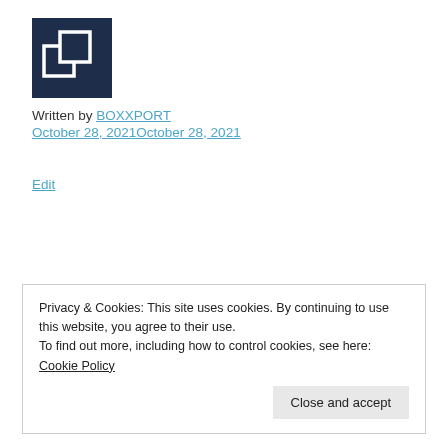[Figure (logo): Boxxport logo: dark navy square with two overlapping white squares icon]
Written by BOXXPORT
October 28, 2021October 28, 2021
Edit
[Figure (photo): Broken image placeholder with alt text: cargo worthy shipping containers for sale]
Privacy & Cookies: This site uses cookies. By continuing to use this website, you agree to their use.
To find out more, including how to control cookies, see here: Cookie Policy
Close and accept